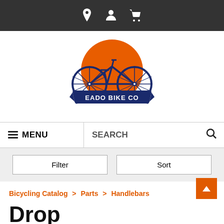Navigation bar with location, account, and cart icons
[Figure (logo): Eado Bike Co logo: orange sun/circle with navy blue road bicycle silhouette and banner reading EADO BIKE CO]
MENU | SEARCH
Filter | Sort
Bicycling Catalog > Parts > Handlebars
Drop